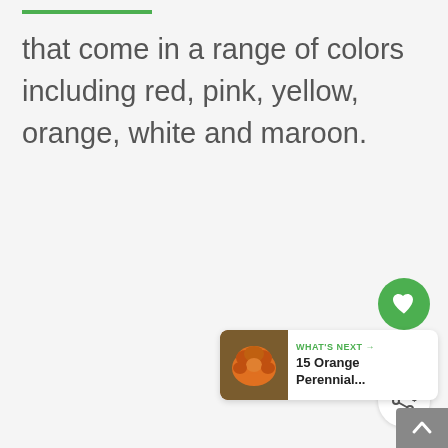that come in a range of colors including red, pink, yellow, orange, white and maroon.
[Figure (other): Green underline decoration bar at top left]
[Figure (other): Green circular heart/favorite button with heart icon, like count 302, and white circular share button with share icon]
[Figure (other): WHAT'S NEXT card with orange flower thumbnail and text '15 Orange Perennial...']
[Figure (other): Gray scroll-to-top button with up arrow at bottom right]